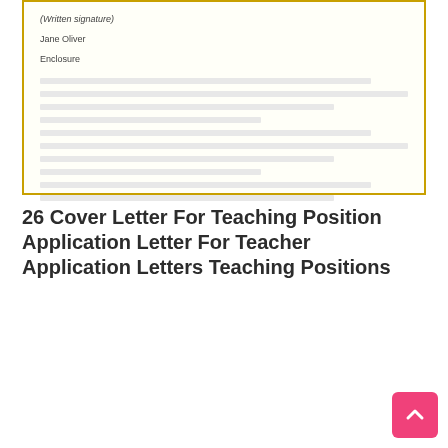[Figure (other): Partial view of a cover letter document with a gold/yellow border, showing a written signature line, name 'Jane Oliver', and 'Enclosure' text, with faded/blurred lines below.]
26 Cover Letter For Teaching Position Application Letter For Teacher Application Letters Teaching Positions